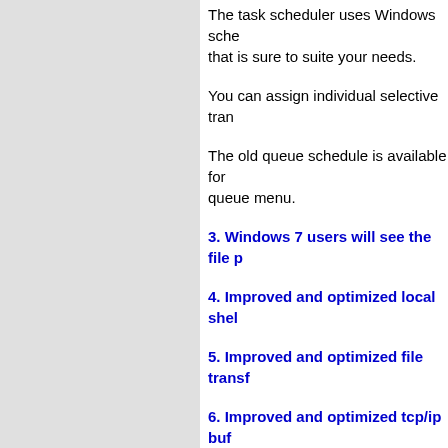The task scheduler uses Windows sche that is sure to suite your needs.
You can assign individual selective tran
The old queue schedule is available for queue menu.
3. Windows 7 users will see the file p
4. Improved and optimized local shel
5. Improved and optimized file transf
6. Improved and optimized tcp/ip buf
You can now select larger buffers as we but not necessary better than a larger fi buffers per-site. In my tests a larger buf on connect indicating whether or not au
7. Improved FTP File Search